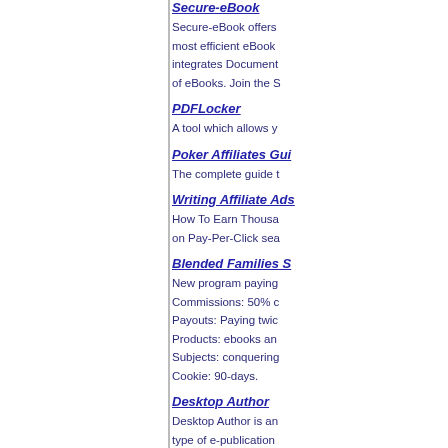Secure-eBook
Secure-eBook offers most efficient eBook integrates Document of eBooks. Join the S
PDFLocker
A tool which allows y
Poker Affiliates Gui
The complete guide t
Writing Affiliate Ads
How To Earn Thousa on Pay-Per-Click sea
Blended Families S
New program paying Commissions: 50% c Payouts: Paying twic Products: ebooks an Subjects: conquering Cookie: 90-days.
Desktop Author
Desktop Author is an type of e-publication exams, tests, forms a HTML, ASP or other
The Complete Guid